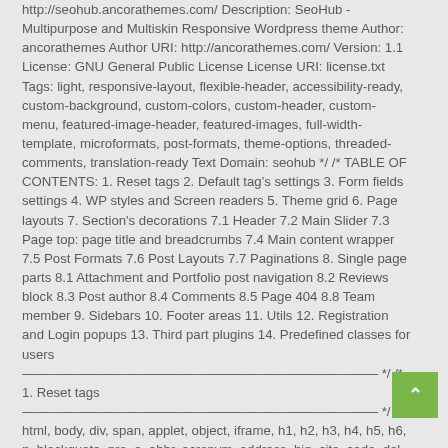http://seohub.ancorathemes.com/ Description: SeoHub - Multipurpose and Multiskin Responsive Wordpress theme Author: ancorathemes Author URI: http://ancorathemes.com/ Version: 1.1 License: GNU General Public License License URI: license.txt Tags: light, responsive-layout, flexible-header, accessibility-ready, custom-background, custom-colors, custom-header, custom-menu, featured-image-header, featured-images, full-width-template, microformats, post-formats, theme-options, threaded-comments, translation-ready Text Domain: seohub */ /* TABLE OF CONTENTS: 1. Reset tags 2. Default tag's settings 3. Form fields settings 4. WP styles and Screen readers 5. Theme grid 6. Page layouts 7. Section's decorations 7.1 Header 7.2 Main Slider 7.3 Page top: page title and breadcrumbs 7.4 Main content wrapper 7.5 Post Formats 7.6 Post Layouts 7.7 Paginations 8. Single page parts 8.1 Attachment and Portfolio post navigation 8.2 Reviews block 8.3 Post author 8.4 Comments 8.5 Page 404 8.8 Team member 9. Sidebars 10. Footer areas 11. Utils 12. Registration and Login popups 13. Third part plugins 14. Predefined classes for users ————————————————————— */ /* 1. Reset tags ————————————————————— */ html, body, div, span, applet, object, iframe, h1, h2, h3, h4, h5, h6, p, blockquote, pre, a, abbr, acronym, address, big, cite, code, del, dfn, em, font, ins, kbd, q, s, samp, small, strike, strong, sub, sup, tt, var, dl, dt, dd, ol, ul, li, fieldset